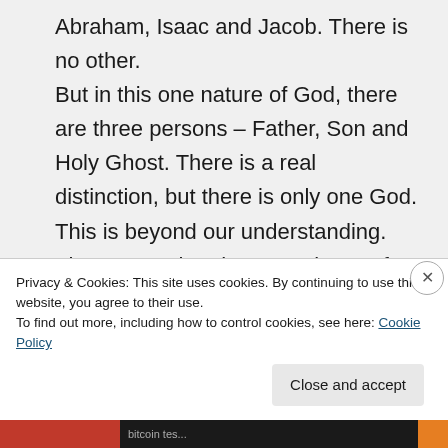Abraham, Isaac and Jacob. There is no other. But in this one nature of God, there are three persons – Father, Son and Holy Ghost. There is a real distinction, but there is only one God. This is beyond our understanding. The reason that the eternal Son of God is called the Son has nothing whatsoever to do with submission and authority. It has only to do with nature, or essence. As a
Privacy & Cookies: This site uses cookies. By continuing to use this website, you agree to their use. To find out more, including how to control cookies, see here: Cookie Policy
Close and accept